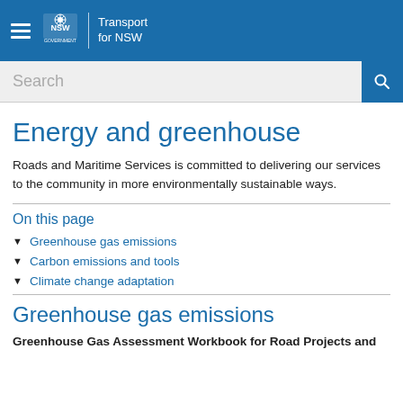Transport for NSW
Energy and greenhouse
Roads and Maritime Services is committed to delivering our services to the community in more environmentally sustainable ways.
On this page
Greenhouse gas emissions
Carbon emissions and tools
Climate change adaptation
Greenhouse gas emissions
Greenhouse Gas Assessment Workbook for Road Projects and